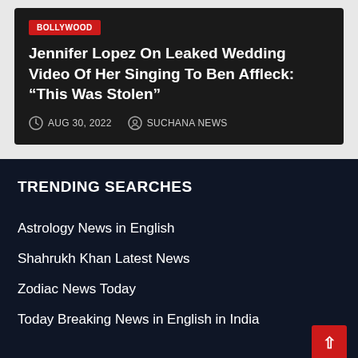BOLLYWOOD
Jennifer Lopez On Leaked Wedding Video Of Her Singing To Ben Affleck: “This Was Stolen”
AUG 30, 2022   SUCHANA NEWS
TRENDING SEARCHES
Astrology News in English
Shahrukh Khan Latest News
Zodiac News Today
Today Breaking News in English in India